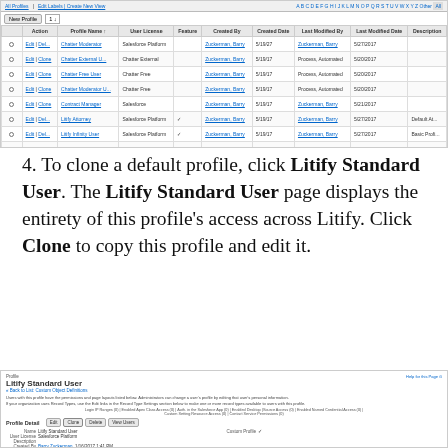[Figure (screenshot): Salesforce Profiles list view showing multiple profiles including Litify Standard User, with columns for Action, Profile Name, User License, Feature, Created By, Created Date, Last Modified By, Last Modified Date, Description]
4. To clone a default profile, click Litify Standard User. The Litify Standard User page displays the entirety of this profile's access across Litify. Click Clone to copy this profile and edit it.
[Figure (screenshot): Salesforce Litify Standard User profile detail page showing Profile label, title, back to list link, description text, links bar, Profile Detail section with Edit/Clone/Delete/View Users buttons, and fields for Name, User License, Description, Created By, Custom Profile, Modified By]